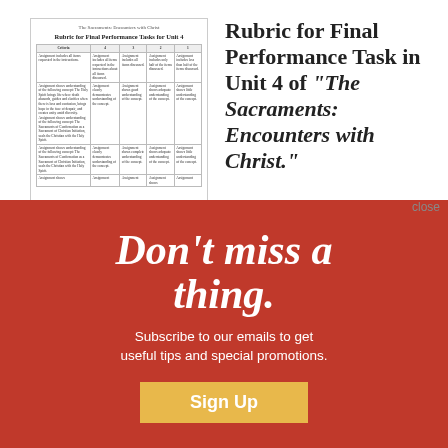[Figure (other): Thumbnail preview of a rubric document titled 'Rubric for Final Performance Tasks for Unit 4' with a table showing criteria and scoring levels]
Rubric for Final Performance Task in Unit 4 of “The Sacraments: Encounters with Christ.”
close
Don’t miss a thing.
Subscribe to our emails to get useful tips and special promotions.
Sign Up